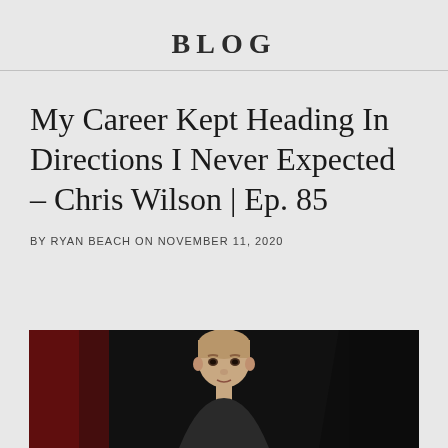BLOG
My Career Kept Heading In Directions I Never Expected – Chris Wilson | Ep. 85
BY RYAN BEACH ON NOVEMBER 11, 2020
[Figure (photo): Photo of Chris Wilson, a man with short light-colored hair, in front of a dark background with red curtain visible, appearing to be near a piano]